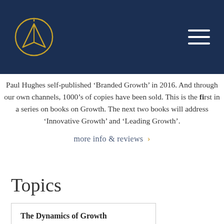Navigation header with logo and hamburger menu
Paul Hughes self-published 'Branded Growth' in 2016. And through our own channels, 1000's of copies have been sold. This is the first in a series on books on Growth. The next two books will address 'Innovative Growth' and 'Leading Growth'.
more info & reviews >
Topics
The Dynamics of Growth